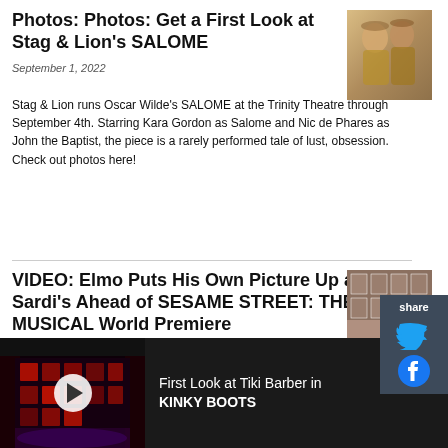Photos: Photos: Get a First Look at Stag & Lion's SALOME
September 1, 2022
[Figure (photo): Two women in theatrical costume for SALOME production]
Stag & Lion runs Oscar Wilde's SALOME at the Trinity Theatre through September 4th. Starring Kara Gordon as Salome and Nic de Phares as John the Baptist, the piece is a rarely performed tale of lust, obsession. Check out photos here!
VIDEO: Elmo Puts His Own Picture Up at Sardi's Ahead of SESAME STREET: THE MUSICAL World Premiere
[Figure (photo): Elmo the red Muppet character sitting at Sardi's restaurant]
[Figure (screenshot): Ad banner showing a theatrical stage production video thumbnail with play button]
First Look at Tiki Barber in KINKY BOOTS